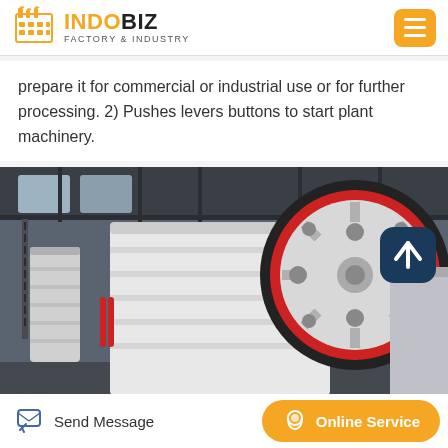INDOBIZ FACTORY & INDUSTRY
prepare it for commercial or industrial use or for further processing. 2) Pushes levers buttons to start plant machinery.
[Figure (photo): Industrial jaw crusher machine in a factory setting, showing large flywheel with red ring, white body, set in a large industrial hall.]
Send Message | Online Service